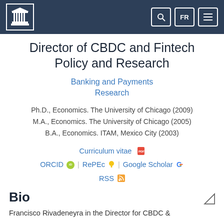Bank of Canada navigation bar with logo, search, FR, and menu icons
Director of CBDC and Fintech Policy and Research
Banking and Payments Research
Ph.D., Economics. The University of Chicago (2009)
M.A., Economics. The University of Chicago (2005)
B.A., Economics. ITAM, Mexico City (2003)
Curriculum vitae  ORCID  RePEc  Google Scholar  RSS
Bio
Francisco Rivadeneyra in the Director for CBDC &